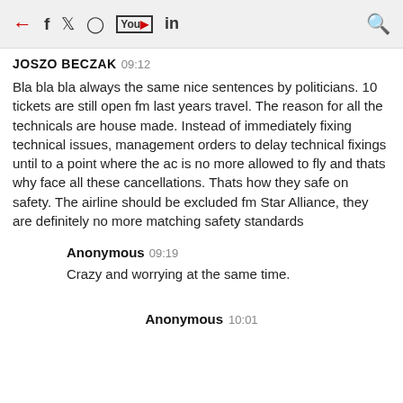← f twitter instagram youtube in 🔍
JOSZO BECZAK  09:12
Bla bla bla always the same nice sentences by politicians. 10 tickets are still open fm last years travel. The reason for all the technicals are house made. Instead of immediately fixing technical issues, management orders to delay technical fixings until to a point where the ac is no more allowed to fly and thats why face all these cancellations. Thats how they safe on safety. The airline should be excluded fm Star Alliance, they are definitely no more matching safety standards
Anonymous  09:19
Crazy and worrying at the same time.
Anonymous  10:01